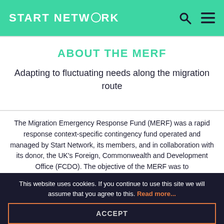START NETWORK
ABOUT THE MERF
Adapting to fluctuating needs along the migration route
The Migration Emergency Response Fund (MERF) was a rapid response context-specific contingency fund operated and managed by Start Network, its members, and in collaboration with its donor, the UK's Foreign, Commonwealth and Development Office (FCDO). The objective of the MERF was to improve the effectiveness and understanding of the migration response and trends. It operated in 11 countries: Algeria, Burkina Faso, Cameroon, Chad, Egypt, Libya, Mali, Morocco, Niger, Sudan and...
This website uses cookies. If you continue to use this site we will assume that you agree to this. Read more...
ACCEPT